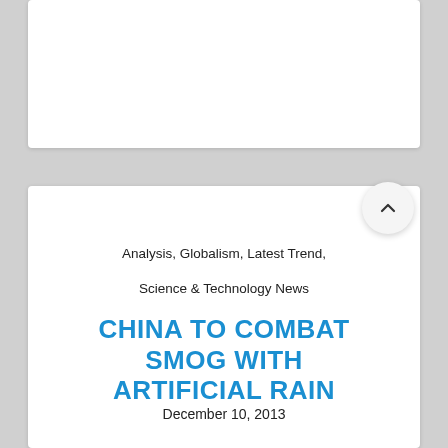Analysis, Globalism, Latest Trend,
Science & Technology News
CHINA TO COMBAT SMOG WITH ARTIFICIAL RAIN
December 10, 2013